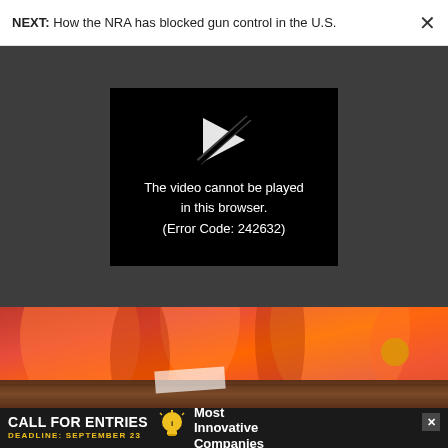NEXT: How the NRA has blocked gun control in the U.S.
[Figure (screenshot): Video player error dialog on dark background. Shows a broken play button icon and text: 'The video cannot be played in this browser. (Error Code: 242632)']
[Figure (photo): Close-up photo of orange and red flowing fabric/cloth draped over a wooden surface]
CALL FOR ENTRIES DEADLINE: SEPTEMBER 23 Most Innovative Companies